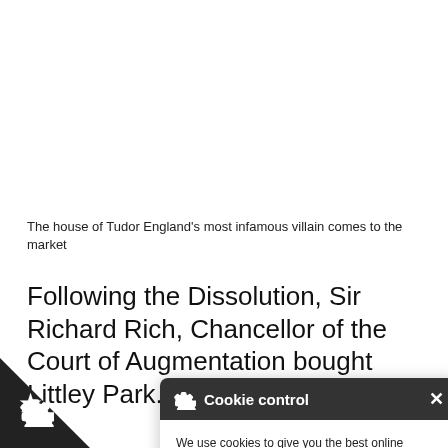The house of Tudor England's most infamous villain comes to the market
Following the Dissolution, Sir Richard Rich, Chancellor of the Court of Augmentation bought Littley Park.
[Figure (screenshot): Cookie control popup dialog with dark header, gear icon, close button, cookie consent text, 'I'm fine with this' button, and Information and Settings / Cookie policy links]
[Figure (logo): Black triangle badge in bottom-left corner with a white gear/cookie control icon]